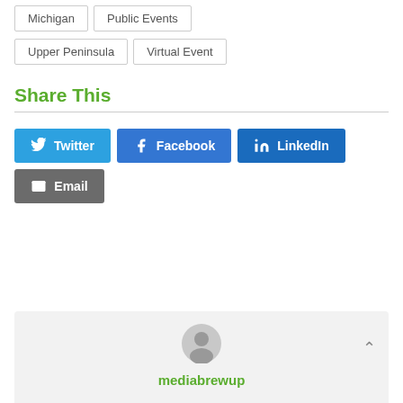Michigan
Public Events
Upper Peninsula
Virtual Event
Share This
Twitter
Facebook
LinkedIn
Email
[Figure (illustration): Author avatar silhouette icon (grey person icon on light grey background)]
mediabrewup